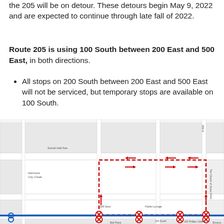the 205 will be on detour. These detours begin May 9, 2022 and are expected to continue through late fall of 2022.
Route 205 is using 100 South between 200 East and 500 East, in both directions.
All stops on 200 South between 200 East and 500 East will not be serviced, but temporary stops are available on 100 South.
[Figure (map): Street map showing Route 205 detour path. A red dashed rectangle outlines the detour route along 100 South between 200 East and 500 East. Blue lines indicate the regular route along 200 South. Red arrows show direction of travel on the detour. Red circle-X symbols mark stops not being serviced. Blue circles mark active stops. Street labels include Social Hall Ave, 200 East, 500 E, Fable Lounge, Harmons City Creek, The Church of Jesus Christ of Latter-day Saints, 100 Phillips Gallery.]